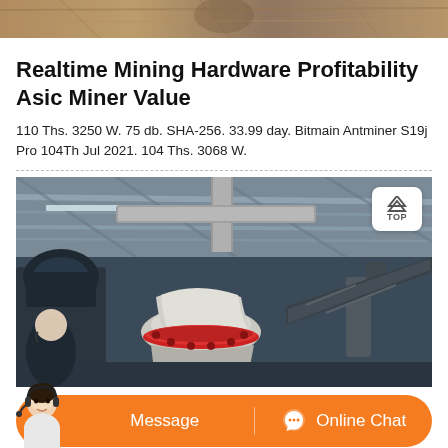[Figure (photo): Top banner image showing a rocky/earthy texture scene]
Realtime Mining Hardware Profitability Asic Miner Value
110 Ths. 3250 W. 75 db. SHA-256. 33.99 day. Bitmain Antminer S19j Pro 104Th Jul 2021. 104 Ths. 3068 W.
[Figure (photo): Industrial mining/crushing facility interior showing heavy machinery including a cone crusher with red collar, metal ductwork, steel roof structure, and conveyor belts]
Message   Online Chat